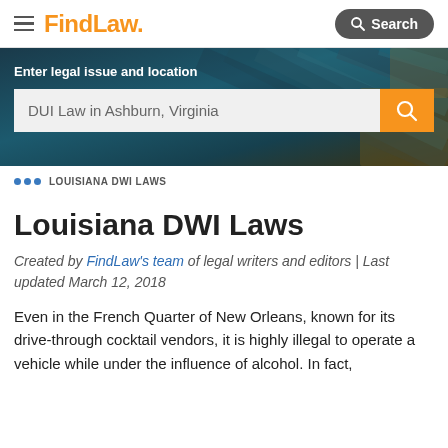FindLaw — Search
[Figure (screenshot): Hero banner with dark blurred background showing the FindLaw search interface with text 'Enter legal issue and location' and a search bar containing 'DUI Law in Ashburn, Virginia' with an orange search button]
··· LOUISIANA DWI LAWS
Louisiana DWI Laws
Created by FindLaw's team of legal writers and editors | Last updated March 12, 2018
Even in the French Quarter of New Orleans, known for its drive-through cocktail vendors, it is highly illegal to operate a vehicle while under the influence of alcohol. In fact,